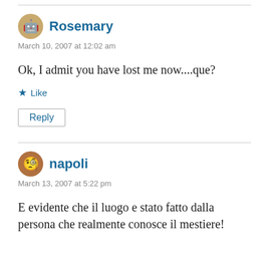Rosemary
March 10, 2007 at 12:02 am
Ok, I admit you have lost me now....que?
★ Like
Reply
napoli
March 13, 2007 at 5:22 pm
E evidente che il luogo e stato fatto dalla persona che realmente conosce il mestiere!